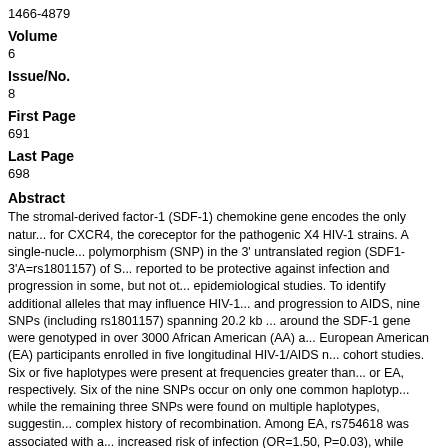1466-4879
Volume
6
Issue/No.
8
First Page
691
Last Page
698
Abstract
The stromal-derived factor-1 (SDF-1) chemokine gene encodes the only natur... for CXCR4, the coreceptor for the pathogenic X4 HIV-1 strains. A single-nucle... polymorphism (SNP) in the 3' untranslated region (SDF1-3'A=rs1801157) of S... reported to be protective against infection and progression in some, but not ot... epidemiological studies. To identify additional alleles that may influence HIV-1... and progression to AIDS, nine SNPs (including rs1801157) spanning 20.2 kb ... around the SDF-1 gene were genotyped in over 3000 African American (AA) a... European American (EA) participants enrolled in five longitudinal HIV-1/AIDS n... cohort studies. Six or five haplotypes were present at frequencies greater than... or EA, respectively. Six of the nine SNPs occur on only one common haplotye... while the remaining three SNPs were found on multiple haplotypes, suggestin... complex history of recombination. Among EA, rs754618 was associated with a... increased risk of infection (OR=1.50, P=0.03), while rs1801157 (=SDF1-3'A) w... associated with protection against infection (OR=0.63, P=0.01). In the MACS...